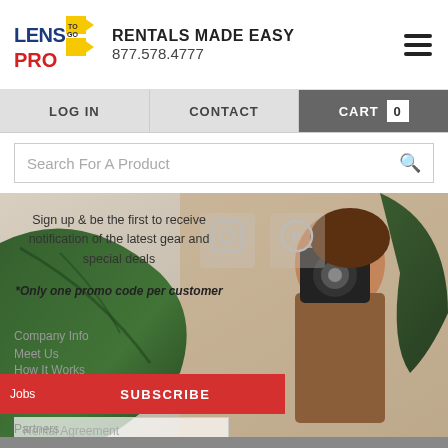[Figure (logo): Lens Pro To Go logo with yellow arrow shapes and red/blue text]
RENTALS MADE EASY
877.578.4777
LOG IN | CONTACT | CART 0
Search For A Product
[Figure (photo): Woman photographer holding a camera up to her face, partially obscured by a large green tropical leaf]
Sign up & be the first to receive notification of the latest gear and special deals
*Only one promo code per customer
Company Info
Meet Us
How It Works
FAQs
EMAIL
Rental Agreement
Testimonials
Jobs
Partners